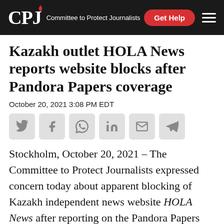CPJ Committee to Protect Journalists | Get Help
Kazakh outlet HOLA News reports website blocks after Pandora Papers coverage
October 20, 2021 3:08 PM EDT
[Figure (other): Social media share icons: Twitter, Facebook, WhatsApp, LinkedIn, Email, Telegram]
Stockholm, October 20, 2021 – The Committee to Protect Journalists expressed concern today about apparent blocking of Kazakh independent news website HOLA News after reporting on the Pandora Papers